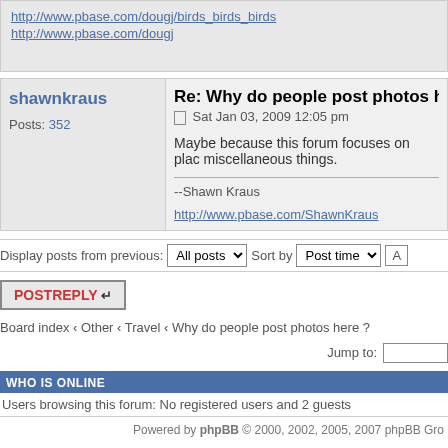http://www.pbase.com/dougj/birds_birds_birds
http://www.pbase.com/dougj
shawnkraus
Posts: 352
Re: Why do people post photos he
Sat Jan 03, 2009 12:05 pm
Maybe because this forum focuses on plac miscellaneous things.
--Shawn Kraus
http://www.pbase.com/ShawnKraus
Display posts from previous:  All posts  Sort by  Post time
POSTREPLY
Board index ‹ Other ‹ Travel ‹ Why do people post photos here ?
Jump to:
WHO IS ONLINE
Users browsing this forum: No registered users and 2 guests
Powered by phpBB © 2000, 2002, 2005, 2007 phpBB Gro